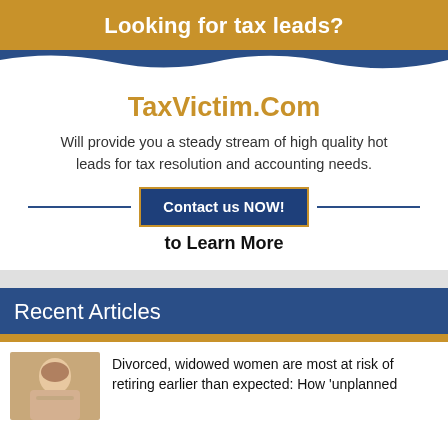Looking for tax leads?
TaxVictim.Com
Will provide you a steady stream of high quality hot leads for tax resolution and accounting needs.
Contact us NOW!
to Learn More
Recent Articles
Divorced, widowed women are most at risk of retiring earlier than expected: How 'unplanned